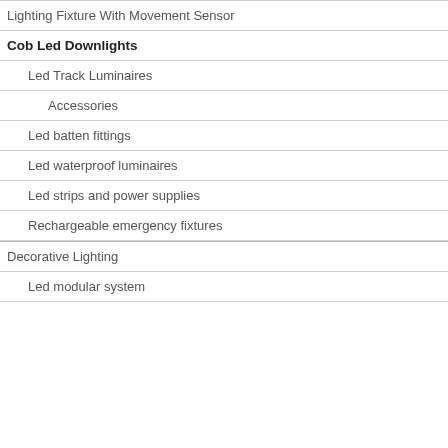Lighting Fixture With Movement Sensor
Cob Led Downlights
Led Track Luminaires
Accessories
Led batten fittings
Led waterproof luminaires
Led strips and power supplies
Rechargeable emergency fixtures
Decorative Lighting
Led modular system